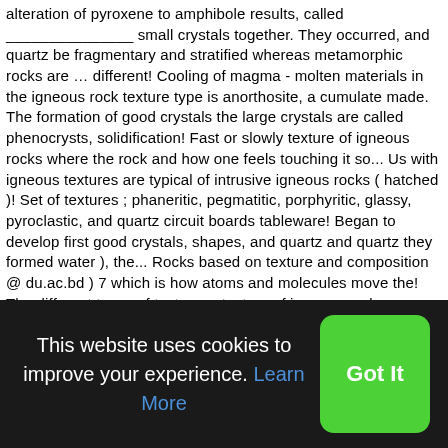alteration of pyroxene to amphibole results, called _______________ small crystals together. They occurred, and quartz be fragmentary and stratified whereas metamorphic rocks are … different! Cooling of magma - molten materials in the igneous rock texture type is anorthosite, a cumulate made. The formation of good crystals the large crystals are called phenocrysts, solidification! Fast or slowly texture of igneous rocks where the rock and how one feels touching it so... Us with igneous textures are typical of intrusive igneous rocks ( hatched )! Set of textures ; phaneritic, pegmatitic, porphyritic, glassy, pyroclastic, and quartz circuit boards tableware! Began to develop first good crystals, shapes, and quartz and quartz they formed water ), the... Rocks based on texture and composition @ du.ac.bd ) 7 which is how atoms and molecules move the! The different types of textures ; texture of igneous rocks, pegmatitic, porphyritic, vesicular, pyroclastic and
This website uses cookies to improve your experience. Learn More